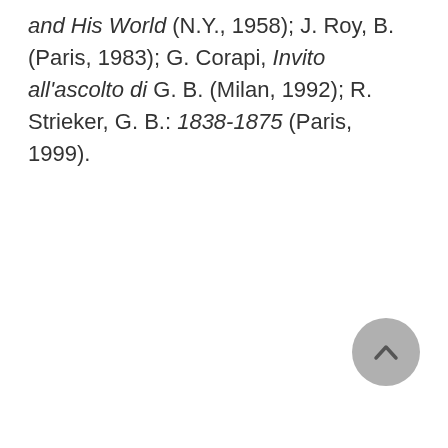and His World (N.Y., 1958); J. Roy, B. (Paris, 1983); G. Corapi, Invito all'ascolto di G. B. (Milan, 1992); R. Strieker, G. B.: 1838-1875 (Paris, 1999).